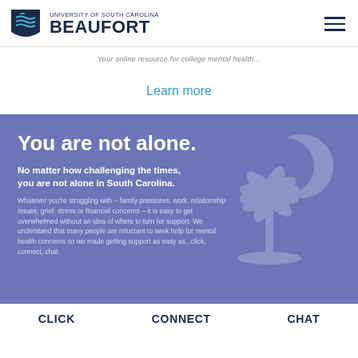[Figure (logo): University of South Carolina Beaufort logo with pelican/shield icon and text]
Your online resource for college mental health...
Learn more
You are not alone.
No matter how challenging the times, you are not alone in South Carolina.
Whatever you're struggling with – family pressures, work, relationship issues, grief, stress or financial concerns – it is easy to get overwhelmed without an idea of where to turn for support. We understand that many people are reluctant to seek help for mental health concerns so we made getting support as easy as...click, connect, chat.
CLICK    CONNECT    CHAT